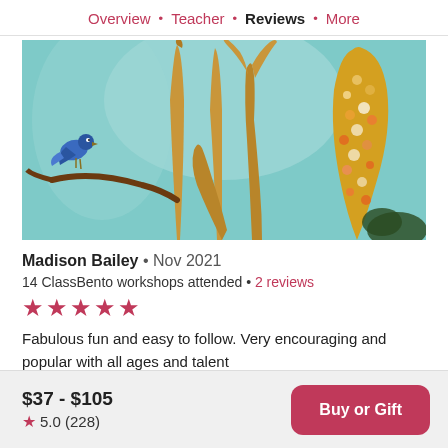Overview · Teacher · Reviews · More
[Figure (photo): Painting of golden reeds/plants against a teal/aqua background with a blue bird perched on a branch on the left, and a decorated corn cob on the right.]
Madison Bailey • Nov 2021
14 ClassBento workshops attended • 2 reviews
★★★★★
Fabulous fun and easy to follow. Very encouraging and popular with all ages and talent
$37 - $105
★ 5.0 (228)
Buy or Gift